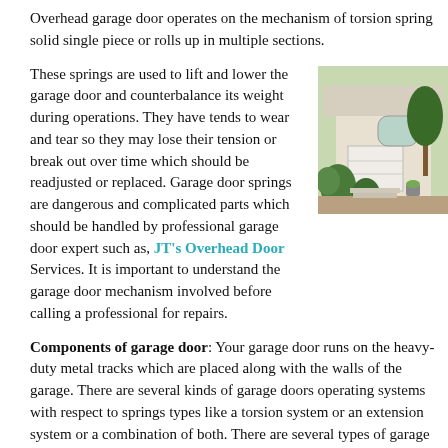Overhead garage door operates on the mechanism of torsion springs. It is a solid single piece or rolls up in multiple sections.
These springs are used to lift and lower the garage door and counterbalance its weight during operations. They have tends to wear and tear so they may lose their tension or break out over time which should be readjusted or replaced. Garage door springs are dangerous and complicated parts which should be handled by professional garage door expert such as, JT's Overhead Door Services. It is important to understand the garage door mechanism involved before calling a professional for repairs.
[Figure (photo): Photo of a house exterior with an overhead garage door, shrubs and trees visible]
Components of garage door: Your garage door runs on the heavy-duty metal tracks which are placed along with the walls of the garage. There are several kinds of garage doors operating systems with respect to springs types like a torsion system or an extension system or a combination of both. There are several types of garage door based on the operating system. Swing-up garage doors: In this category, garage door runs on the horizontal tracks placed high on a wall of the garage. These tracks should be